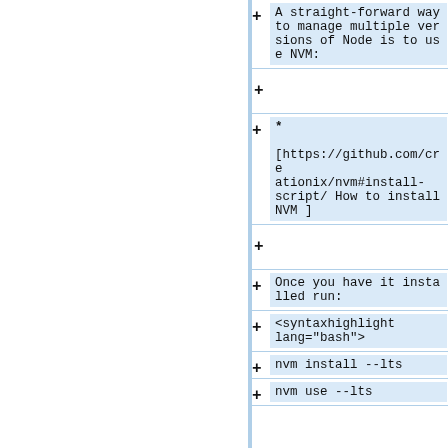A straight-forward way to manage multiple versions of Node is to use NVM:
* [https://github.com/creationix/nvm#install-script/ How to install NVM ]
Once you have it installed run:
<syntaxhighlight lang="bash">
nvm install --lts
nvm use --lts